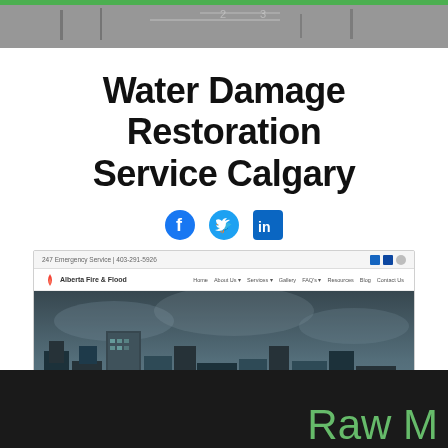[Figure (screenshot): Top dark photographic strip showing blurred background with a ruler or measurement tool visible]
Water Damage Restoration Service Calgary
[Figure (infographic): Social media icons row: Facebook (blue circle with f), Twitter (blue bird), LinkedIn (blue square with in)]
[Figure (screenshot): Screenshot of Alberta Fire & Flood website showing browser navbar with logo and navigation links, and a hero banner with city skyline reading '24/7 EMERGENCY RESPONSE DISASTER RESTORATION - Proudly serving Calgary's communities since 2003. We help make it right again, right away.' with a CALL NOW button]
Raw M